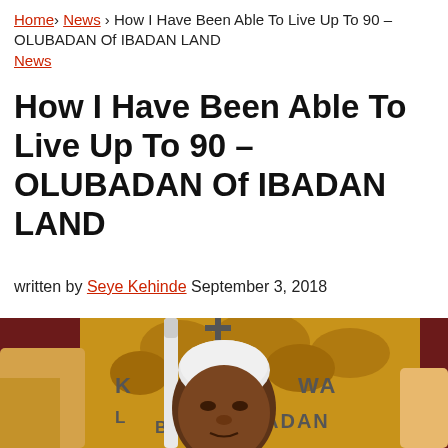Home > News > How I Have Been Able To Live Up To 90 – OLUBADAN Of IBADAN LAND News
How I Have Been Able To Live Up To 90 – OLUBADAN Of IBADAN LAND
written by Seye Kehinde September 3, 2018
[Figure (photo): An elderly Nigerian traditional ruler (Olubadan) in white ceremonial cap holding a white staff, seated on an ornate golden throne, with decorative carvings visible in the background. Text on throne reads KAYESI, OLUBADAN.]